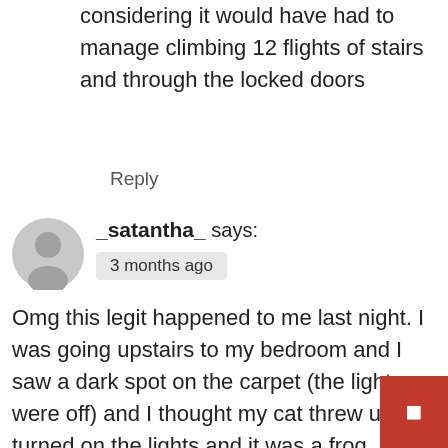considering it would have had to manage climbing 12 flights of stairs and through the locked doors
Reply
_satantha_ says:
3 months ago
Omg this legit happened to me last night. I was going upstairs to my bedroom and I saw a dark spot on the carpet (the lights were off) and I thought my cat threw up. I turned on the lights and it was a frog. How tf did a frog get into my house?? I would think that somebody would've noticed, especially my cat or my dog. I